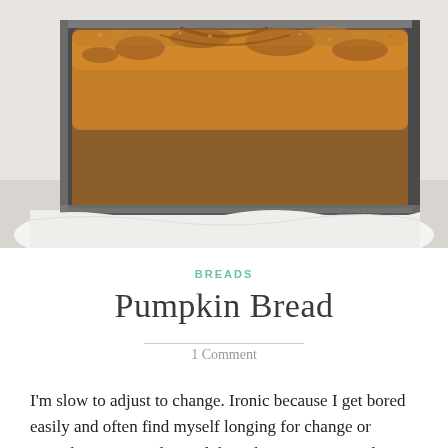[Figure (photo): Close-up photo of pumpkin bread in a dark metal loaf pan, shot from above at an angle. The bread has a golden-brown crust with a cracked top and visible texture. The pan sits on a white surface.]
BREADS
Pumpkin Bread
1 Comment
I'm slow to adjust to change. Ironic because I get bored easily and often find myself longing for change or something new to do. And then change comes, and I suddenly am not so sure I want it. We're now three